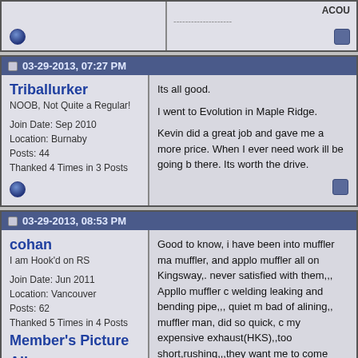ACOU
-------------------
03-29-2013, 07:27 PM
Triballurker
NOOB, Not Quite a Regular!

Join Date: Sep 2010
Location: Burnaby
Posts: 44
Thanked 4 Times in 3 Posts
Its all good.

I went to Evolution in Maple Ridge.

Kevin did a great job and gave me a more price. When I ever need work ill be going b there. Its worth the drive.
03-29-2013, 08:53 PM
cohan
I am Hook'd on RS

Join Date: Jun 2011
Location: Vancouver
Posts: 62
Thanked 5 Times in 4 Posts
Member's Picture Albums
Good to know, i have been into muffler ma muffler, and applo muffler all on Kingsway,. never satisfied with them,,, Appllo muffler c welding leaking and bending pipe,,, quiet m bad of alining,, muffler man, did so quick, c my expensive exhaust(HKS),,too short,rushing,,,they want me to come back the fitting,, due they will loosing customer, had to finish my car.

I will try EVolution someday,,,